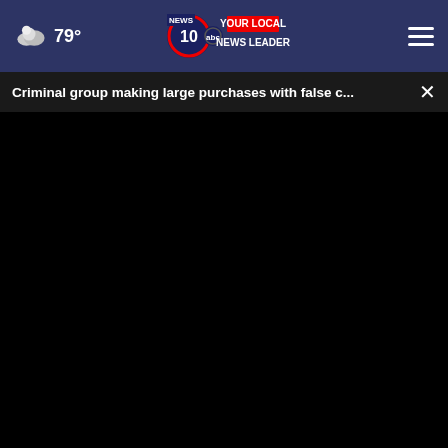79° | NEWS 10 YOUR LOCAL NEWS LEADER
Criminal group making large purchases with false c...
[Figure (screenshot): Black video player area with scrubber and controls bar showing play button, mute icon, timestamp 00:00, and fullscreen icon]
Sogoodly
[Figure (screenshot): Advertisement card for Frávega Como La Familia with purple Abrir button and Frávega logo]
WHAT DO YOU THINK?